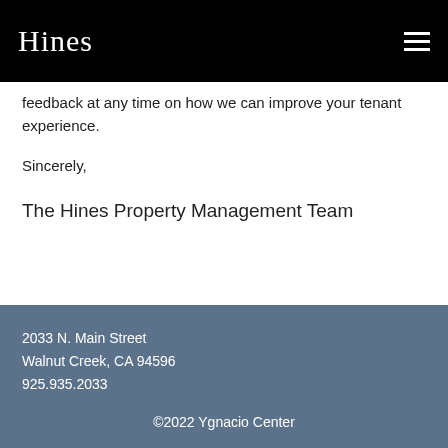Hines
feedback at any time on how we can improve your tenant experience.
Sincerely,
The Hines Property Management Team
2033 N. Main Street
Walnut Creek, CA 94596
925.935.2033
©2022 Ygnacio Center